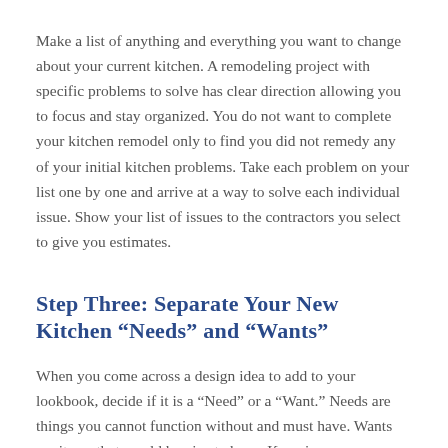Make a list of anything and everything you want to change about your current kitchen. A remodeling project with specific problems to solve has clear direction allowing you to focus and stay organized. You do not want to complete your kitchen remodel only to find you did not remedy any of your initial kitchen problems. Take each problem on your list one by one and arrive at a way to solve each individual issue. Show your list of issues to the contractors you select to give you estimates.
Step Three: Separate Your New Kitchen “Needs” and “Wants”
When you come across a design idea to add to your lookbook, decide if it is a “Need” or a “Want.” Needs are things you cannot function without and must have. Wants are items that would be nice to have. Knowing